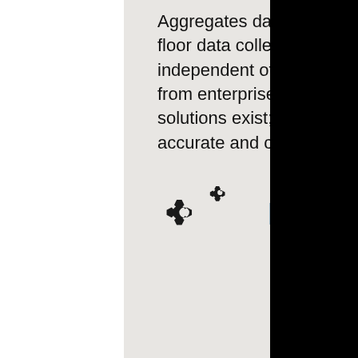Aggregates data from various sources such as ERP, shop floor data collection and monitoring solutions and is independent of the data source. Integrations with solutions from enterprise software vendors to specifically tailored solutions exist; the most important point is having actual, accurate and complete data.
[Figure (infographic): Gear/cog icons (integration symbol) alongside the bold blue text 'INTEGRATION']